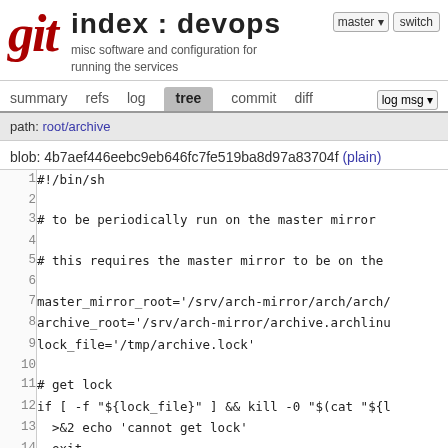git index : devops — misc software and configuration for running the services
summary refs log tree commit diff | log msg
path: root/archive
blob: 4b7aef446eebc9eb646fc7fe519ba8d97a83704f (plain)
#!/bin/sh

# to be periodically run on the master mirror

# this requires the master mirror to be on the

master_mirror_root='/srv/arch-mirror/arch/arch/
archive_root='/srv/arch-mirror/archive.archlinu
lock_file='/tmp/archive.lock'

# get lock
if [ -f "${lock_file}" ] && kill -0 "$(cat "${l
  >&2 echo 'cannot get lock'
  exit
fi
echo "$$" >"${lock_file}"